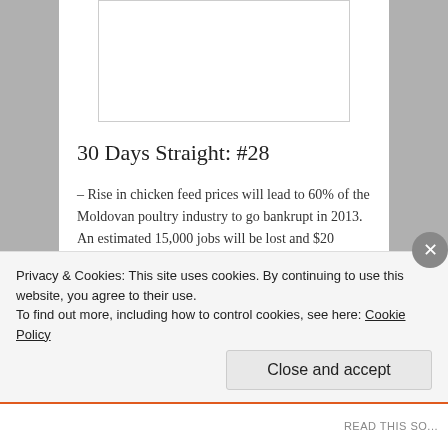[Figure (other): White rectangle image placeholder at top of article]
30 Days Straight: #28
– Rise in chicken feed prices will lead to 60% of the Moldovan poultry industry to go bankrupt in 2013. An estimated 15,000 jobs will be lost and $20 million dollar monthly losses will hit the agricultural industry. Reports say that the existing 40% of producers will dominate the domestic market along
Privacy & Cookies: This site uses cookies. By continuing to use this website, you agree to their use.
To find out more, including how to control cookies, see here: Cookie Policy
Close and accept